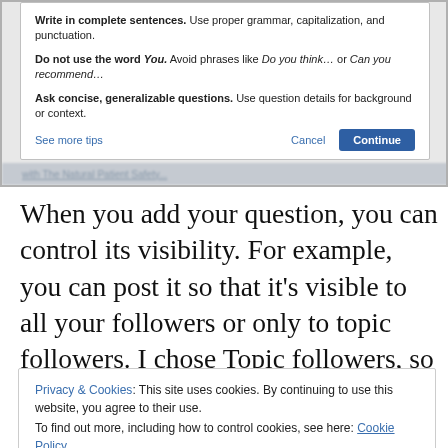[Figure (screenshot): Screenshot of a web dialog box with writing tips including 'Write in complete sentences', 'Do not use the word You', and 'Ask concise, generalizable questions', with Cancel and Continue buttons, and a See more tips link.]
When you add your question, you can control its visibility. For example, you can post it so that it’s visible to all your followers or only to topic followers. I chose Topic followers, so as not to spam my friends. I personally don’t mind seeing random questions my friends ask, but I wasn’t sure
Privacy & Cookies: This site uses cookies. By continuing to use this website, you agree to their use. To find out more, including how to control cookies, see here: Cookie Policy